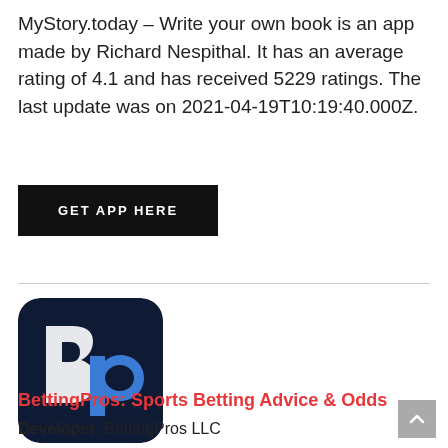MyStory.today – Write your own book is an app made by Richard Nespithal. It has an average rating of 4.1 and has received 5229 ratings. The last update was on 2021-04-19T10:19:40.000Z.
GET APP HERE
[Figure (logo): BettingPros app icon: dark navy blue rounded square with stylized 'bp' letters in white and blue]
BettingPros: Sports Betting Advice & Odds
Developer: BettingPros LLC